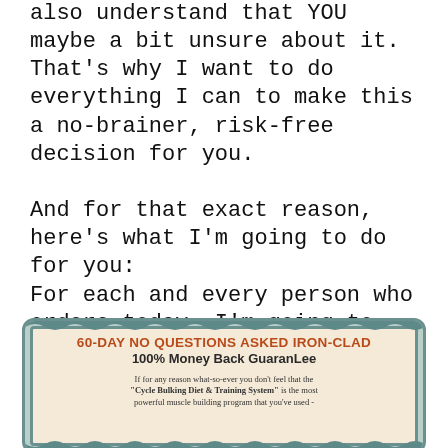also understand that YOU maybe a bit unsure about it. That's why I want to do everything I can to make this a no-brainer, risk-free decision for you.

And for that exact reason, here's what I'm going to do for you:
For each and every person who orders today, I'm going to extend my Iron-Clad, 60-day 100% Money Back Satisfaction GuaranLee:
[Figure (other): Certificate-style guarantee box with teal decorative border on beige background. Title reads '60-DAY NO QUESTIONS ASKED IRON-CLAD 100% Money Back GuaranLee' followed by small body text about the Cycle Bulking Diet & Training System guarantee.]